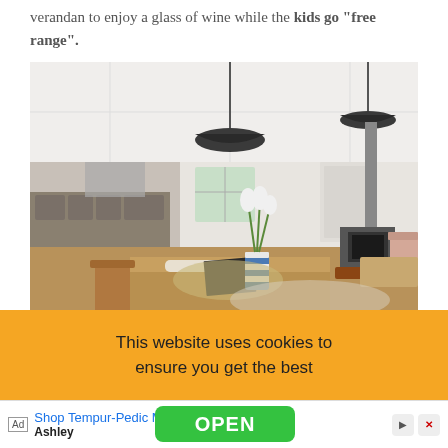verandan to enjoy a glass of wine while the kids go "free range".
[Figure (photo): Interior photo of an open-plan kitchen and living area with wooden dining table, pendant lights, wood-burning stove, and flowers in a striped vase.]
This website uses cookies to ensure you get the best
Ad  Shop Tempur-Pedic Mattresses  Ashley  OPEN